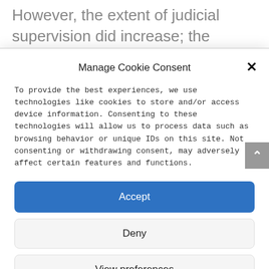However, the extent of judicial supervision did increase; the freedom to decide
Manage Cookie Consent
To provide the best experiences, we use technologies like cookies to store and/or access device information. Consenting to these technologies will allow us to process data such as browsing behavior or unique IDs on this site. Not consenting or withdrawing consent, may adversely affect certain features and functions.
Accept
Deny
View preferences
Cookie Policy  Privacy Statement